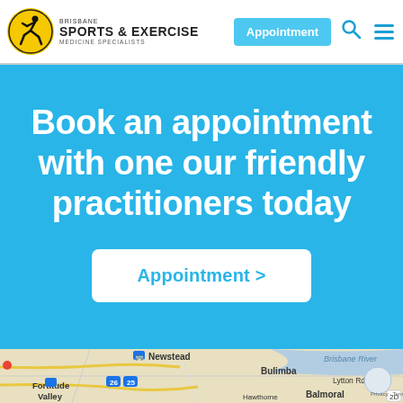[Figure (logo): Brisbane Sports & Exercise Medicine Specialists logo - yellow circle with running figure, text to the right]
Appointment | Search | Menu
Book an appointment with one our friendly practitioners today
Appointment >
[Figure (map): Google Maps screenshot showing Brisbane River area with suburbs: Newstead, Bulimba, Balmoral, Fortitude Valley, Hawthorne. Shows Lytton Rd and route numbers 26, 25.]